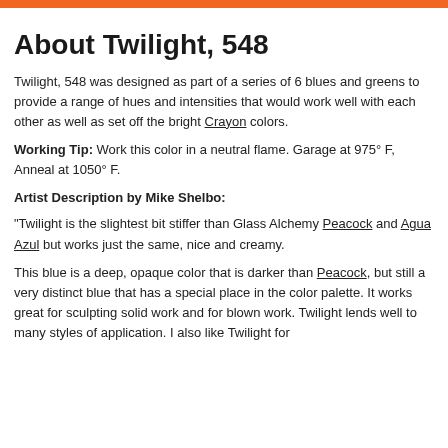About Twilight, 548
Twilight, 548 was designed as part of a series of 6 blues and greens to provide a range of hues and intensities that would work well with each other as well as set off the bright Crayon colors.
Working Tip: Work this color in a neutral flame. Garage at 975° F, Anneal at 1050° F.
Artist Description by Mike Shelbo:
"Twilight is the slightest bit stiffer than Glass Alchemy Peacock and Agua Azul but works just the same, nice and creamy.
This blue is a deep, opaque color that is darker than Peacock, but still a very distinct blue that has a special place in the color palette. It works great for sculpting solid work and for blown work. Twilight lends well to many styles of application. I also like Twilight for